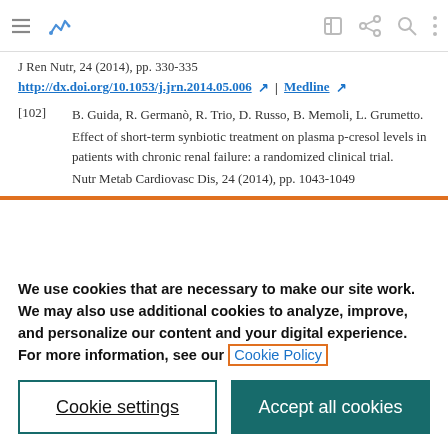[Figure (screenshot): Browser toolbar with hamburger menu, activity icon, edit icon, share icon, search icon, and more options icon]
J Ren Nutr, 24 (2014), pp. 330-335
http://dx.doi.org/10.1053/j.jrn.2014.05.006 ↗ | Medline ↗
[102] B. Guida, R. Germanò, R. Trio, D. Russo, B. Memoli, L. Grumetto. Effect of short-term synbiotic treatment on plasma p-cresol levels in patients with chronic renal failure: a randomized clinical trial. Nutr Metab Cardiovasc Dis, 24 (2014), pp. 1043-1049
We use cookies that are necessary to make our site work. We may also use additional cookies to analyze, improve, and personalize our content and your digital experience. For more information, see our Cookie Policy
Cookie settings
Accept all cookies